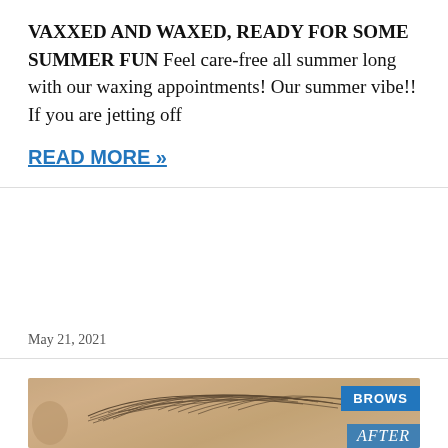VAXXED AND WAXED, READY FOR SOME SUMMER FUN Feel care-free all summer long with our waxing appointments! Our summer vibe!! If you are jetting off
READ MORE »
May 21, 2021
[Figure (photo): Close-up photo of an eyebrow before waxing treatment, showing skin and eyebrow hair. Has a blue 'BROWS' badge in top right and 'AFTER' text overlay in bottom right corner.]